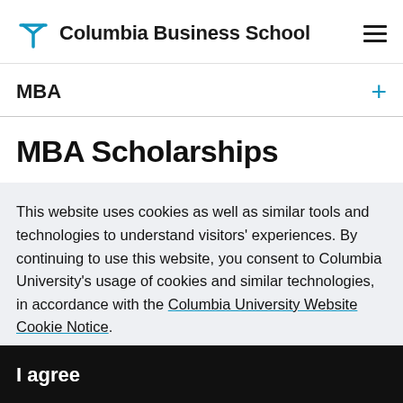Columbia Business School
MBA
MBA Scholarships
This website uses cookies as well as similar tools and technologies to understand visitors' experiences. By continuing to use this website, you consent to Columbia University's usage of cookies and similar technologies, in accordance with the Columbia University Website Cookie Notice.
I agree